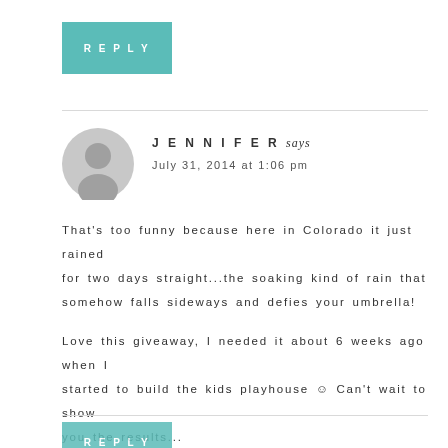REPLY
JENNIFER says
July 31, 2014 at 1:06 pm
That's too funny because here in Colorado it just rained for two days straight...the soaking kind of rain that somehow falls sideways and defies your umbrella!
Love this giveaway, I needed it about 6 weeks ago when I started to build the kids playhouse ☺ Can't wait to show you the results...
REPLY